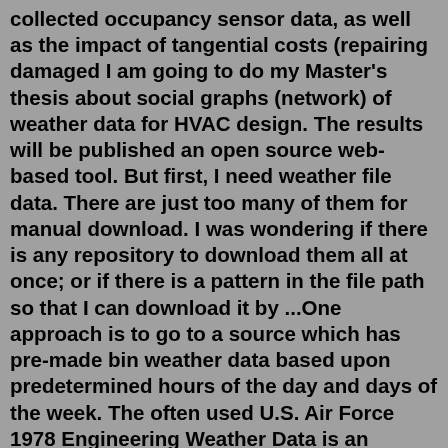collected occupancy sensor data, as well as the impact of tangential costs (repairing damaged I am going to do my Master's thesis about social graphs (network) of weather data for HVAC design. The results will be published an open source web-based tool. But first, I need weather file data. There are just too many of them for manual download. I was wondering if there is any repository to download them all at once; or if there is a pattern in the file path so that I can download it by ...One approach is to go to a source which has pre-made bin weather data based upon predetermined hours of the day and days of the week. The often used U.S. Air Force 1978 Engineering Weather Data is an example of this. This is now been superseded by the Engineering Weather Data CD_ROM which contains approximately 800 world wide weather stations. Meteorological Organization Station Number) design conditions for a weather file location. Currently only those design conditions contained in the ASHRAE Handbook of Fundamentals 2009 are contained in the weather file